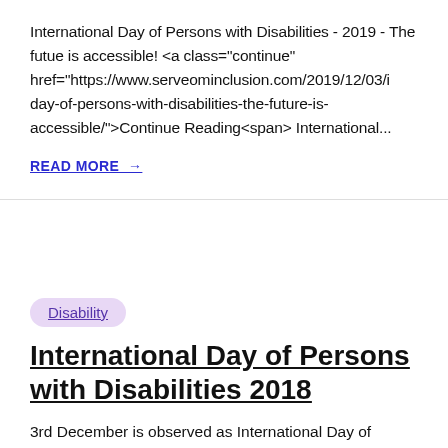International Day of Persons with Disabilities - 2019 - The futue is accessible! <a class="continue" href="https://www.serveominclusion.com/2019/12/03/i day-of-persons-with-disabilities-the-future-is-accessible/">Continue Reading<span> International...
READ MORE →
Disability
International Day of Persons with Disabilities 2018
3rd December is observed as International Day of